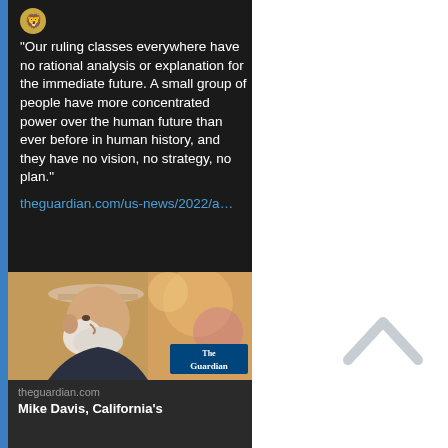"Our ruling classes everywhere have no rational analysis or explanation for the immediate future. A small group of people have more concentrated power over the human future than ever before in human history, and they have no vision, no strategy, no plan." theguardian.com/us-news/2022/a…
[Figure (photo): Older man wearing a beige/tan hat, side profile, with The Guardian logo badge overlay in bottom right corner]
theguardian.com
Mike Davis, California's